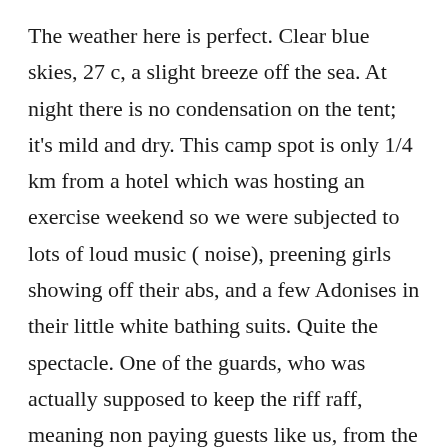The weather here is perfect. Clear blue skies, 27 c, a slight breeze off the sea. At night there is no condensation on the tent; it's mild and dry. This camp spot is only 1/4 km from a hotel which was hosting an exercise weekend so we were subjected to lots of loud music ( noise), preening girls showing off their abs, and a few Adonises in their little white bathing suits. Quite the spectacle. One of the guards, who was actually supposed to keep the riff raff, meaning non paying guests like us, from the property so we couldn't get fresh water to rinse off the salt, relented and let us stay ( on the outer fringe, like a couple of lepers). The price for this privilege was to watch videos of his new pit bull puppy for 20 minutes and listen to him whine about his miserable pay. Apparently he is moving on to